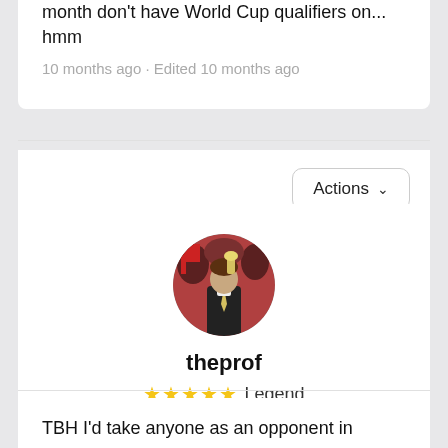month don't have World Cup qualifiers on... hmm
10 months ago · Edited 10 months ago
Actions
[Figure (photo): Circular profile photo of a man in a suit holding a trophy, surrounded by people]
theprof
★★★★★ Legend
👍 3.3K · 💬 12K · 🕐 almost 15 years
TBH I'd take anyone as an opponent in